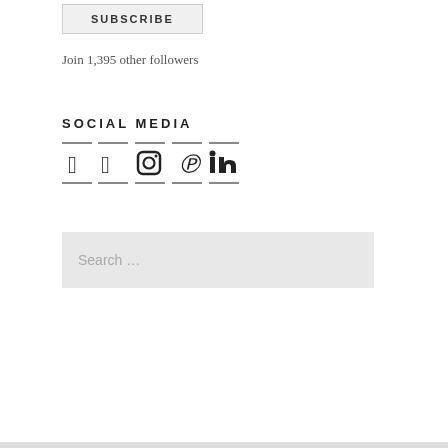SUBSCRIBE
Join 1,395 other followers
SOCIAL MEDIA
[Figure (infographic): Five social media icons (Facebook, Twitter, Instagram, Pinterest, LinkedIn) each displayed between two horizontal dashes]
Search …